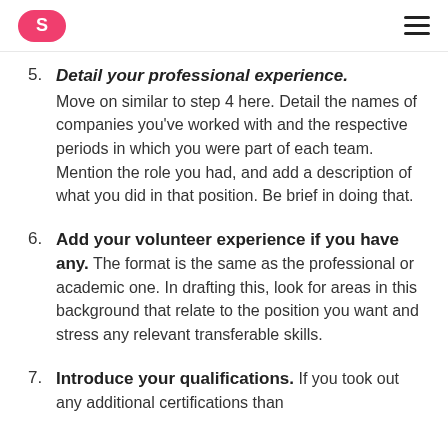S [logo] ≡ [menu]
5. Detail your professional experience. Move on similar to step 4 here. Detail the names of companies you've worked with and the respective periods in which you were part of each team. Mention the role you had, and add a description of what you did in that position. Be brief in doing that.
6. Add your volunteer experience if you have any. The format is the same as the professional or academic one. In drafting this, look for areas in this background that relate to the position you want and stress any relevant transferable skills.
7. Introduce your qualifications. If you took out any additional certifications than